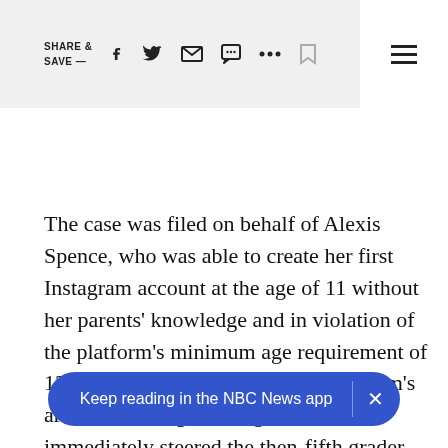SHARE & SAVE —  [social icons]  [menu]
The case was filed on behalf of Alexis Spence, who was able to create her first Instagram account at the age of 11 without her parents' knowledge and in violation of the platform's minimum age requirement of 13. The complaint alleges that Instagram's artificial intelligence engine almost immediately steered the then-fifth grader into an echo chamber of content glorifying anorexia and self-cutting, and systematically fostered her addiction to using the app. The lawsuit was filed by th[e] [advocat]ed group that advocates for families of teens harmed
Keep reading in the NBC News app